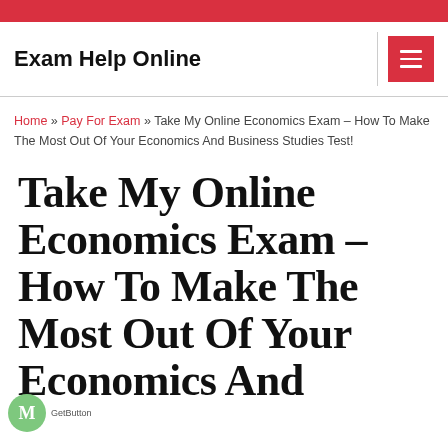Exam Help Online
Home » Pay For Exam » Take My Online Economics Exam – How To Make The Most Out Of Your Economics And Business Studies Test!
Take My Online Economics Exam – How To Make The Most Out Of Your Economics And